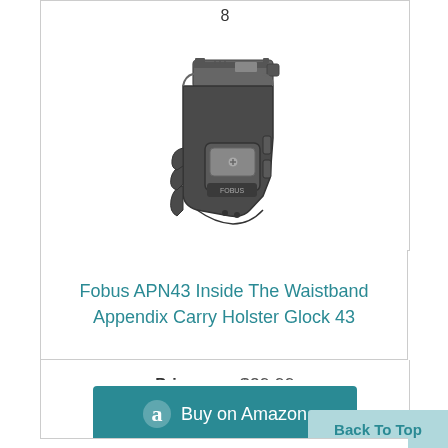8
[Figure (photo): Photo of a Fobus APN43 Inside The Waistband Appendix Carry Holster for Glock 43 — a black and grey polymer holster holding a semi-automatic pistol, shown from the side]
Fobus APN43 Inside The Waistband Appendix Carry Holster Glock 43
Price: $29.99
Buy on Amazon
Back To Top